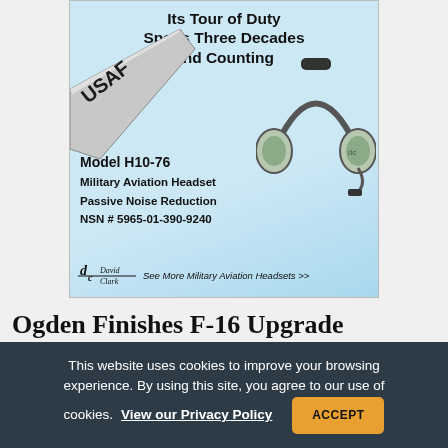[Figure (illustration): Advertisement for David Clark Model H10-76 Military Aviation Headset showing a USAF aircraft wing with 'USAF' lettering, a military aviation headset, and the text 'Its Tour of Duty Spans Three Decades and Counting'. Includes product details: Model H10-76, Military Aviation Headset, Passive Noise Reduction, NSN # 5965-01-390-9240. David Clark logo with tagline 'See More Military Aviation Headsets >>'.]
Ogden Finishes F-16 Upgrade
This website uses cookies to improve your browsing experience. By using this site, you agree to our use of cookies. View our Privacy Policy ACCEPT